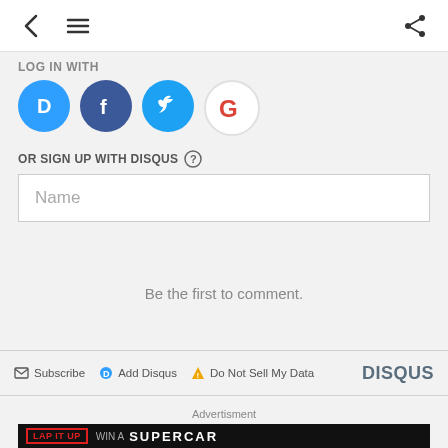< ≡ share
LOG IN WITH
[Figure (illustration): Four social login buttons: Disqus (blue circle with D), Facebook (dark blue circle with f), Twitter (light blue circle with bird), Google (white/red circle with G)]
OR SIGN UP WITH DISQUS ?
Name
Be the first to comment.
✉ Subscribe  D Add Disqus  ▲ Do Not Sell My Data    DISQUS
Advertisment
[Figure (illustration): Advertisement banner: LAP IT UP, WIN A, SUPERCAR text on black background]